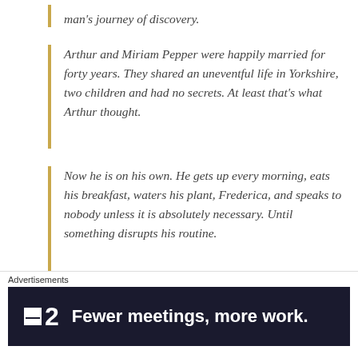man's journey of discovery.
Arthur and Miriam Pepper were happily married for forty years. They shared an uneventful life in Yorkshire, two children and had no secrets. At least that's what Arthur thought.
Now he is on his own. He gets up every morning, eats his breakfast, waters his plant, Frederica, and speaks to nobody unless it is absolutely necessary. Until something disrupts his routine.
On the first anniversary of Miriam's death, Arthur finds a small box containing a gold charm bracelet. On the underside of an elephant charm is a telephone number and, uncharacteristically, Arthur picks up
Advertisements
[Figure (other): Advertisement banner: F2 logo with text 'Fewer meetings, more work.']